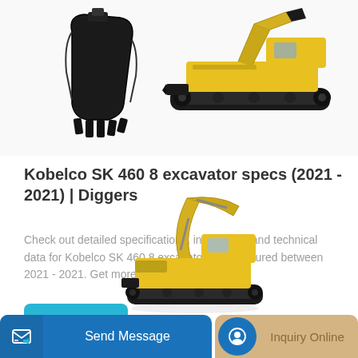[Figure (photo): Two construction equipment images: a large black excavator bucket on the left and a yellow compact excavator/mini dozer on the right, shown on white background.]
Kobelco SK 460 8 excavator specs (2021 - 2021) | Diggers
Check out detailed specifications, information and technical data for Kobelco SK 460 8 excavator manufactured between 2021 - 2021. Get more in-depth insight with...
[Figure (photo): Yellow Kobelco excavator shown from the side with boom extended upward, partially visible at the bottom of the page.]
Send Message | Inquiry Online